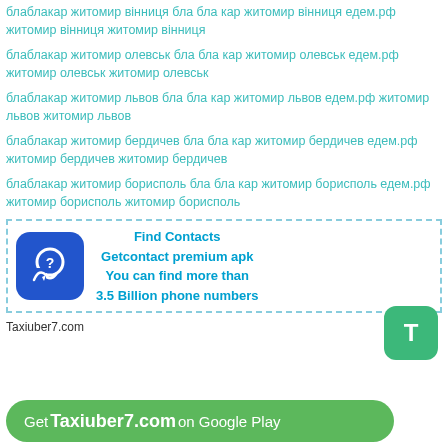блаблакар житомир вінниця бла бла кар житомир вінниця едем.рф житомир вінниця житомир вінниця
блаблакар житомир олевськ бла бла кар житомир олевськ едем.рф житомир олевськ житомир олевськ
блаблакар житомир львов бла бла кар житомир львов едем.рф житомир львов житомир львов
блаблакар житомир бердичев бла бла кар житомир бердичев едем.рф житомир бердичев житомир бердичев
блаблакар житомир борисполь бла бла кар житомир борисполь едем.рф житомир борисполь житомир борисполь
[Figure (infographic): Advertisement box with dashed border. Phone icon on blue rounded square background on left. Text on right: Find Contacts / Getcontact premium apk / You can find more than / 3.5 Billion phone numbers]
Taxiuber7.com
Get Taxiuber7.com on Google Play